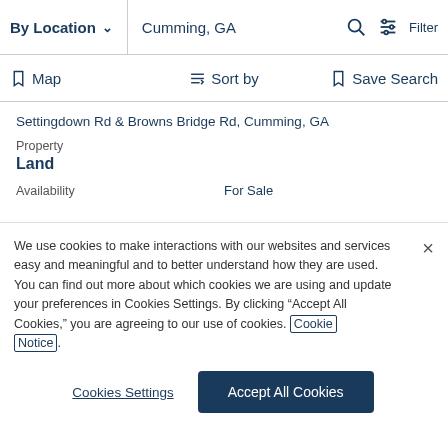By Location  ∨   Cumming, GA   🔍  Filter
Map   Sort by   Save Search
Settingdown Rd & Browns Bridge Rd, Cumming, GA
Property
Land
Availability   For Sale
We use cookies to make interactions with our websites and services easy and meaningful and to better understand how they are used. You can find out more about which cookies we are using and update your preferences in Cookies Settings. By clicking "Accept All Cookies," you are agreeing to our use of cookies. Cookie Notice.
Cookies Settings
Accept All Cookies